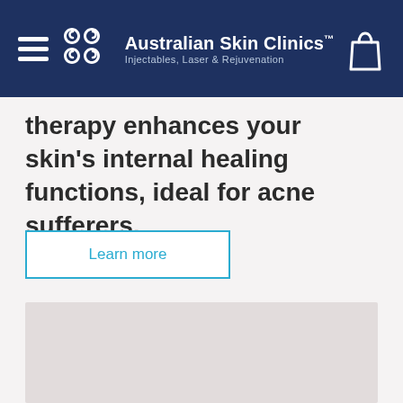Australian Skin Clinics™ Injectables, Laser & Rejuvenation
Therapy enhances your skin's internal healing functions, ideal for acne sufferers.
Learn more
[Figure (photo): Light grey placeholder image block]